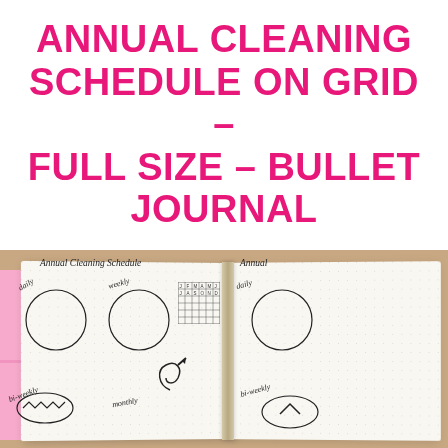ANNUAL CLEANING SCHEDULE ON GRID – FULL SIZE – BULLET JOURNAL
[Figure (photo): Photo of an open bullet journal with annual cleaning schedule pages showing circles labeled daily, weekly, bi-weekly, monthly, a small grid tracker, and decorative arrows, placed on a wooden surface with pink tabs on the side.]